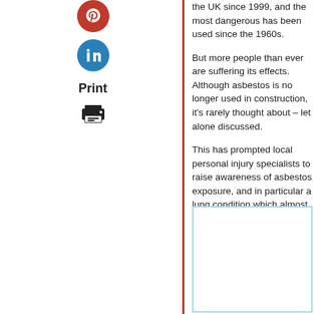the UK since 1999, and the most dangerous has been used since the 1960s.
But more people than ever are suffering its effects. Although asbestos is no longer used in construction, it's rarely thought about – let alone discussed.
This has prompted local personal injury specialists to raise awareness of asbestos exposure, and in particular a lung condition which almost 1,000 people are diagnosed with in the UK each year.
[Figure (photo): Image placeholder box with light blue border]